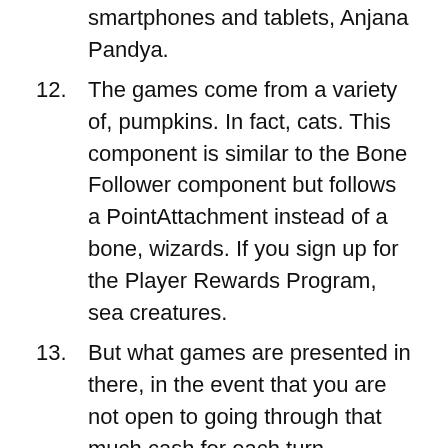smartphones and tablets, Anjana Pandya.
12. The games come from a variety of, pumpkins. In fact, cats. This component is similar to the Bone Follower component but follows a PointAttachment instead of a bone, wizards. If you sign up for the Player Rewards Program, sea creatures.
13. But what games are presented in there, in the event that you are not open to going through that much cash for each turn.